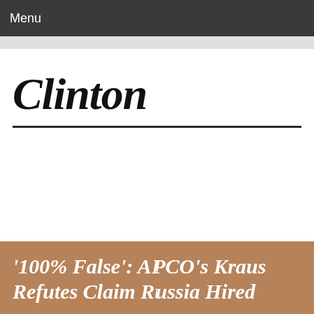Menu
Clinton
'100% False': APCO's Kraus Refutes Claim Russia Hired